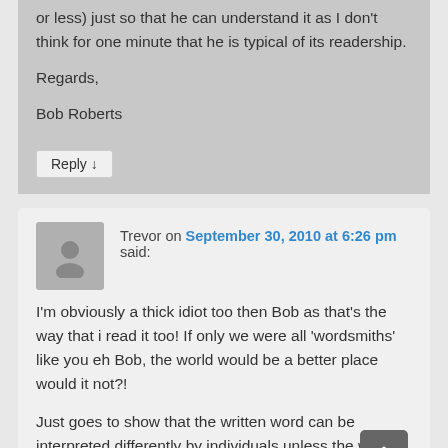or less) just so that he can understand it as I don't think for one minute that he is typical of its readership.

Regards,

Bob Roberts
Reply ↓
Trevor on September 30, 2010 at 6:26 pm said:
I'm obviously a thick idiot too then Bob as that's the way that i read it too! If only we were all 'wordsmiths' like you eh Bob, the world would be a better place would it not?!

Just goes to show that the written word can be interpreted differently by individuals unless the writer makes it perfectly clear what he/ she is trying to say.